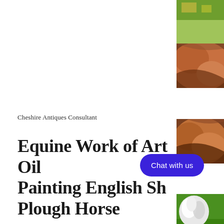[Figure (photo): Thumbnail image of a painting, partially visible, showing yellow/green landscape]
[Figure (photo): Thumbnail image of an oil painting showing a chestnut brown horse, close-up view of the horse's flank/side]
[Figure (photo): Thumbnail image of an oil painting showing a chestnut brown horse, similar close-up view]
[Figure (photo): Thumbnail image of an oil painting showing a white/grey fluffy horse mane or tail with green grass background]
Cheshire Antiques Consultant
Equine Work of Art Oil Painting English Sh... Plough Horse